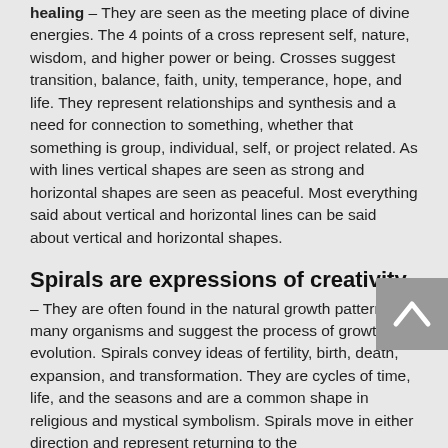healing – They are seen as the meeting place of divine energies. The 4 points of a cross represent self, nature, wisdom, and higher power or being. Crosses suggest transition, balance, faith, unity, temperance, hope, and life. They represent relationships and synthesis and a need for connection to something, whether that something is group, individual, self, or project related. As with lines vertical shapes are seen as strong and horizontal shapes are seen as peaceful. Most everything said about vertical and horizontal lines can be said about vertical and horizontal shapes.
Spirals are expressions of creativity
– They are often found in the natural growth pattern of many organisms and suggest the process of growth and evolution. Spirals convey ideas of fertility, birth, death, expansion, and transformation. They are cycles of time, life, and the seasons and are a common shape in religious and mystical symbolism. Spirals move in either direction and represent returning to the